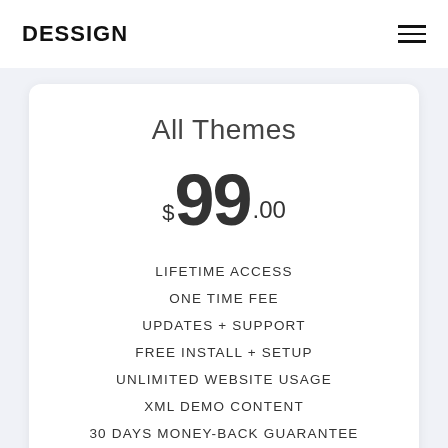DESSIGN
All Themes
$99.00
LIFETIME ACCESS
ONE TIME FEE
UPDATES + SUPPORT
FREE INSTALL + SETUP
UNLIMITED WEBSITE USAGE
XML DEMO CONTENT
30 DAYS MONEY-BACK GUARANTEE
Buy Now